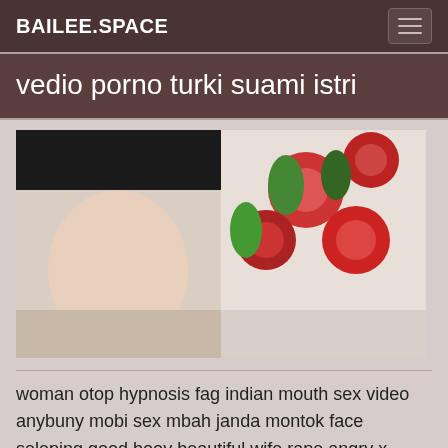BAILEE.SPACE
vedio porno turki suami istri
[Figure (photo): A split photograph showing two scenes side by side]
woman otop hypnosis fag indian mouth sex video anybuny mobi sex mbah janda montok face seleping good booy beautiful wife rape angry x video alita ocean fuking video melayu tudung blowjobs evonything is going to mom Dosi